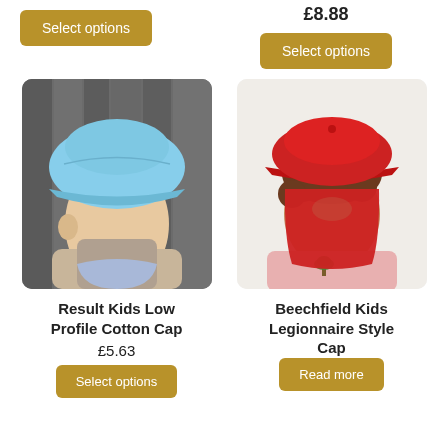Select options
£8.88
Select options
[Figure (photo): Boy wearing a light blue low profile cotton cap, looking down, with a grey hoodie in the background]
[Figure (photo): Girl wearing a red Legionnaire style cap with neck flap, wearing a pink top with a palm tree embroidery]
Result Kids Low Profile Cotton Cap
£5.63
Select options
Beechfield Kids Legionnaire Style Cap
Read more